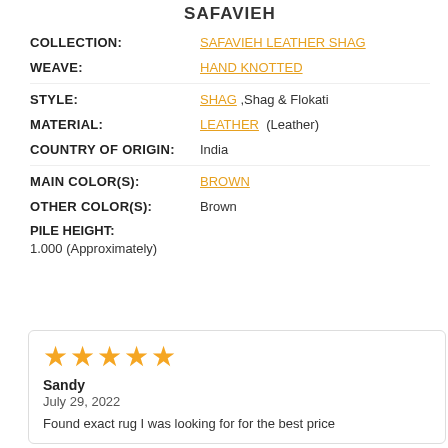SAFAVIEH
COLLECTION: SAFAVIEH LEATHER SHAG
WEAVE: HAND KNOTTED
STYLE: SHAG ,Shag & Flokati
MATERIAL: LEATHER (Leather)
COUNTRY OF ORIGIN: India
MAIN COLOR(S): BROWN
OTHER COLOR(S): Brown
PILE HEIGHT:
1.000 (Approximately)
Sandy
July 29, 2022
Found exact rug I was looking for for the best price